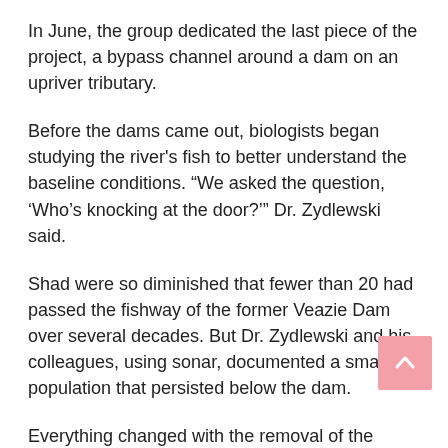In June, the group dedicated the last piece of the project, a bypass channel around a dam on an upriver tributary.
Before the dams came out, biologists began studying the river's fish to better understand the baseline conditions. "We asked the question, 'Who's knocking at the door?'" Dr. Zydlewski said.
Shad were so diminished that fewer than 20 had passed the fishway of the former Veazie Dam over several decades. But Dr. Zydlewski and his colleagues, using sonar, documented a small population that persisted below the dam.
Everything changed with the removal of the Veazie and Great Works dams, Dr. Zydlewski said.
This year, precisely 7,846 shad ventured upriver, past the two